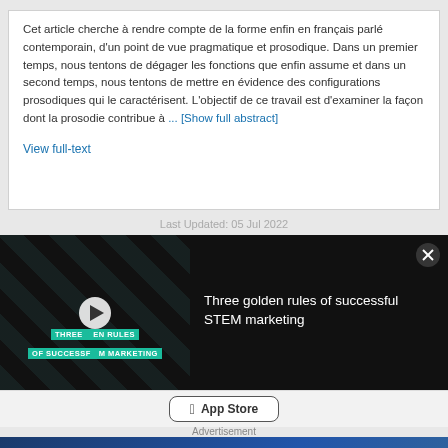Cet article cherche à rendre compte de la forme enfin en français parlé contemporain, d'un point de vue pragmatique et prosodique. Dans un premier temps, nous tentons de dégager les fonctions que enfin assume et dans un second temps, nous tentons de mettre en évidence des configurations prosodiques qui le caractérisent. L'objectif de ce travail est d'examiner la façon dont la prosodie contribue à ... [Show full abstract]
View full-text
Last Updated: 05 Jul 2022
[Figure (screenshot): Video overlay showing 'Three golden rules of successful STEM marketing' with a play button on a dark background with green text overlay, and a close (X) button]
[Figure (screenshot): App Store download button]
Advertisement
[Figure (infographic): ThermoFisher Scientific advertisement: 'WE CAN HELP YOU TEST YOUR CELL CULTURE KNOWLEDGE?' banner ad on blue background]